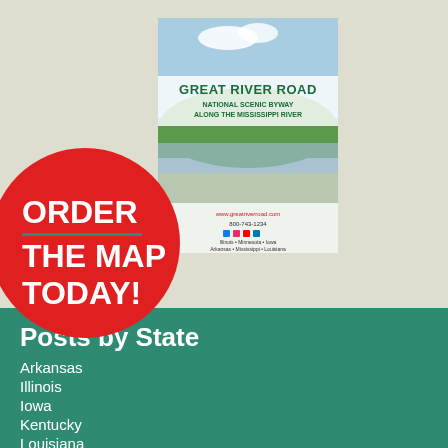[Figure (illustration): Great River Road National Scenic Byway brochure/map cover showing the Mississippi River with text, website, phone number, and state listings. Red circle overlay with 'ORDER THE MAP TODAY!' text.]
Posts by State
Arkansas
Illinois
Iowa
Kentucky
Louisiana